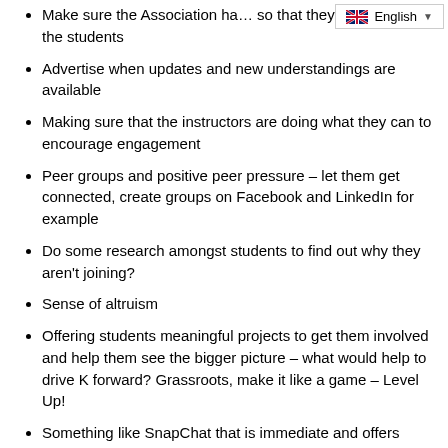Make sure the Association has … so that they can contact the students
Advertise when updates and new understandings are available
Making sure that the instructors are doing what they can to encourage engagement
Peer groups and positive peer pressure – let them get connected, create groups on Facebook and LinkedIn for example
Do some research amongst students to find out why they aren't joining?
Sense of altruism
Offering students meaningful projects to get them involved and help them see the bigger picture – what would help to drive K forward? Grassroots, make it like a game – Level Up!
Something like SnapChat that is immediate and offers